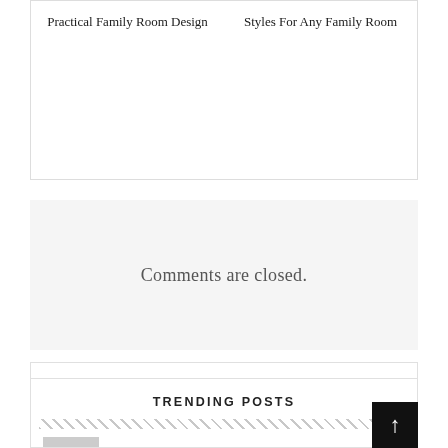Practical Family Room Design
Styles For Any Family Room
Comments are closed.
Search...
TRENDING POSTS
Things To Consider Before Buying A...